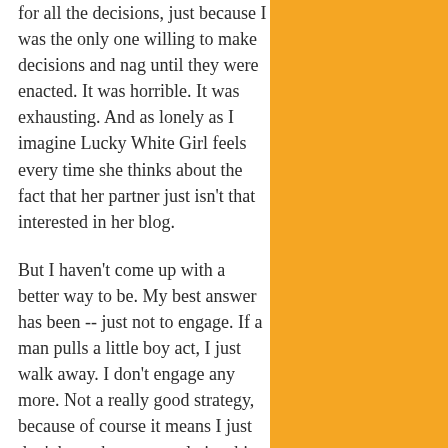for all the decisions, just because I was the only one willing to make decisions and nag until they were enacted. It was horrible. It was exhausting. And as lonely as I imagine Lucky White Girl feels every time she thinks about the fact that her partner just isn't that interested in her blog.
But I haven't come up with a better way to be. My best answer has been -- just not to engage. If a man pulls a little boy act, I just walk away. I don't engage any more. Not a really good strategy, because of course it means I just don't have that many relationships. I